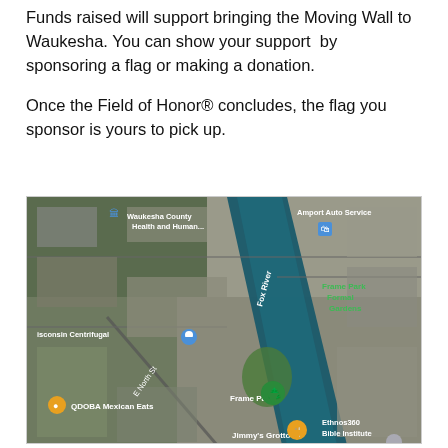Funds raised will support bringing the Moving Wall to Waukesha. You can show your support by sponsoring a flag or making a donation.
Once the Field of Honor® concludes, the flag you sponsor is yours to pick up.
[Figure (map): Satellite/aerial Google Maps view of Frame Park area in Waukesha, Wisconsin, showing Fox River, Frame Park, Frame Park Formal Gardens, Wisconsin Centrifugal, Waukesha County Health and Human, Amport Auto Service, E North St, QDOBA Mexican Eats, Jimmy's Grotto, Ethnos360 Bible Institute]